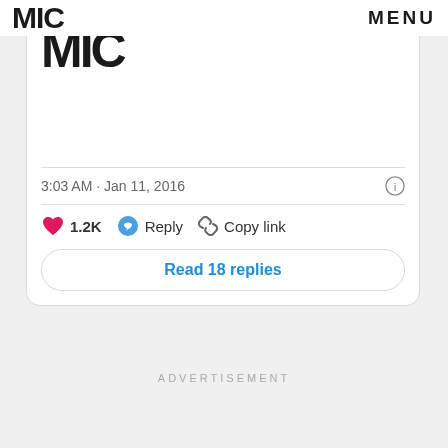MIC   MENU
[Figure (screenshot): Social media post card with MIC logo, timestamp 3:03 AM · Jan 11, 2016, like count 1.2K, Reply and Copy link actions, and Read 18 replies button]
3:03 AM · Jan 11, 2016
1.2K   Reply   Copy link
Read 18 replies
ADVERTISEMENT